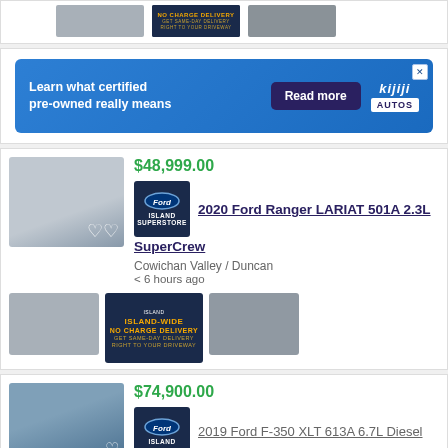[Figure (screenshot): Top strip with three small vehicle thumbnail images from a previous listing]
[Figure (infographic): Kijiji Autos advertisement banner: 'Learn what certified pre-owned really means' with Read more button and Kijiji Autos logo]
$48,999.00
[Figure (photo): 2020 Ford Ranger LARIAT 501A 2.3L SuperCrew truck listing with dealer logo and thumbnail images, location: Cowichan Valley / Duncan, less than 6 hours ago]
$74,900.00
[Figure (photo): 2019 Ford F-350 XLT 613A 6.7L Diesel partial listing at bottom of page]